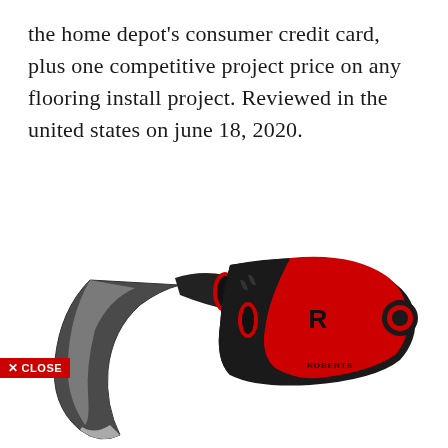the home depot's consumer credit card, plus one competitive project price on any flooring install project. Reviewed in the united states on june 18, 2020.
[Figure (photo): A curved linoleum knife / flooring knife with a black ergonomic handle featuring red accents and a Roberts brand logo. The blade is curved and metallic. A red 'X CLOSE' button overlay appears on the lower left of the image.]